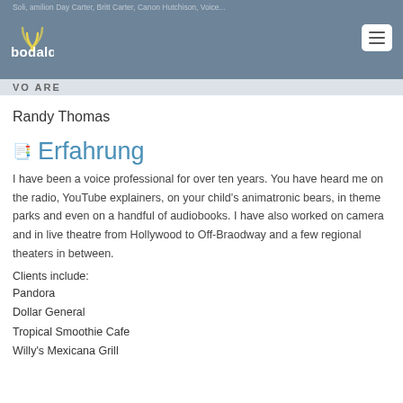Soli,amilion Day Carter, Britt Carter, Canon Hutchison, Voice...
[Figure (logo): Bodalgo logo with wifi-like arc icon and text 'bodalgo']
VO ARE
Randy Thomas
Erfahrung
I have been a voice professional for over ten years. You have heard me on the radio, YouTube explainers, on your child's animatronic bears, in theme parks and even on a handful of audiobooks. I have also worked on camera and in live theatre from Hollywood to Off-Braodway and a few regional theaters in between.
Clients include:
Pandora
Dollar General
Tropical Smoothie Cafe
Willy's Mexicana Grill